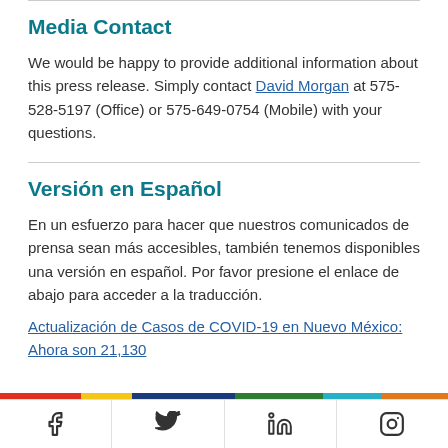Media Contact
We would be happy to provide additional information about this press release. Simply contact David Morgan at 575-528-5197 (Office) or 575-649-0754 (Mobile) with your questions.
Versión en Español
En un esfuerzo para hacer que nuestros comunicados de prensa sean más accesibles, también tenemos disponibles una versión en español. Por favor presione el enlace de abajo para acceder a la traducción.
Actualización de Casos de COVID-19 en Nuevo México: Ahora son 21,130
[Figure (infographic): Colored horizontal bar with red, yellow, dark blue, green, light blue, and orange sections]
[Figure (infographic): Footer row with four social media icons: Facebook, Twitter, LinkedIn, Instagram]